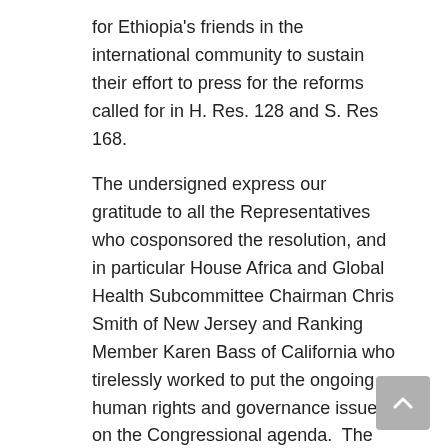for Ethiopia's friends in the international community to sustain their effort to press for the reforms called for in H. Res. 128 and S. Res 168.
The undersigned express our gratitude to all the Representatives who cosponsored the resolution, and in particular House Africa and Global Health Subcommittee Chairman Chris Smith of New Jersey and Ranking Member Karen Bass of California who tirelessly worked to put the ongoing human rights and governance issues on the Congressional agenda.  The groups also commend the tremendous efforts of members of the diaspora and other grassroots organizations who advocated with their members of Congress and today saw their efforts bear fruit.
Signed
Africa Faith & Justice Network
Amhara Association of America